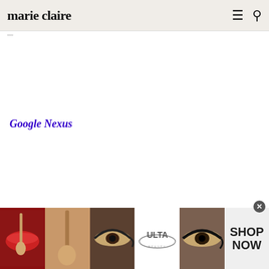marie claire
Google Nexus
·
[Figure (illustration): Ulta Beauty advertisement banner at the bottom of the page showing beauty images: lips with makeup brush, eye makeup close-ups, Ulta Beauty logo, and SHOP NOW call to action button]